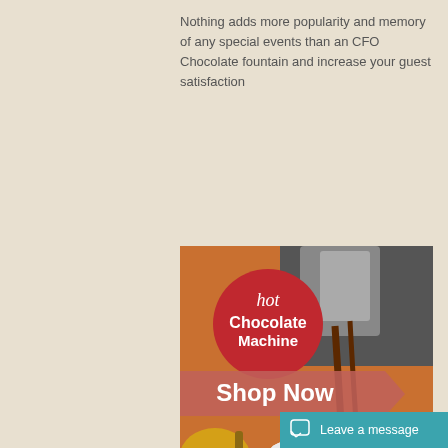Nothing adds more popularity and memory of any special events than an CFO Chocolate fountain and increase your guest satisfaction
[Figure (photo): Photo of a hot chocolate machine dispensing chocolate into a white cup. Overlaid with a red circular badge reading 'hot Chocolate Machine' and a salmon-colored banner saying 'Shop Now'.]
Hot Chocolate Machine Serve a cup of Delicious hot chocolate drinking
Perfect using in cafe shop, dessert bar, restaurant, Ice cream shop, Easy